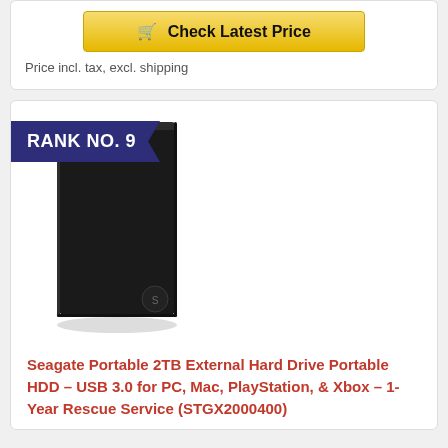🛒 Check Latest Price
Price incl. tax, excl. shipping
RANK NO. 9
[Figure (photo): Black Seagate portable external hard drive standing upright against white background]
Seagate Portable 2TB External Hard Drive Portable HDD – USB 3.0 for PC, Mac, PlayStation, & Xbox – 1-Year Rescue Service (STGX2000400)